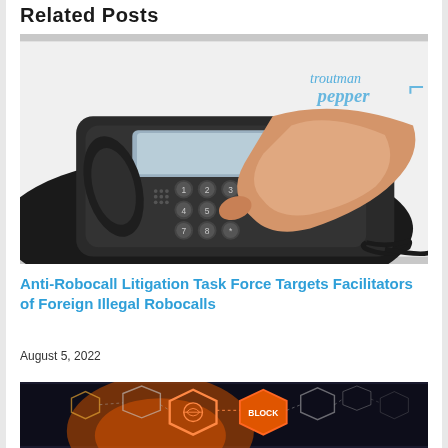Related Posts
[Figure (photo): A hand dialing a black desk telephone, with the Troutman Pepper logo watermark in the top right corner]
Anti-Robocall Litigation Task Force Targets Facilitators of Foreign Illegal Robocalls
August 5, 2022
[Figure (photo): A dark-themed blockchain technology graphic with glowing orange hexagonal icons and the word BLOCK visible]